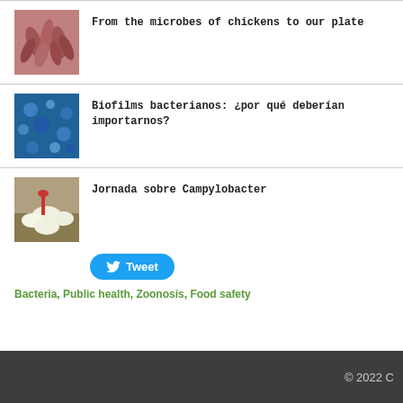From the microbes of chickens to our plate
Biofilms bacterianos: ¿por qué deberían importarnos?
Jornada sobre Campylobacter
Tweet
Bacteria, Public health, Zoonosis, Food safety
© 2022 C